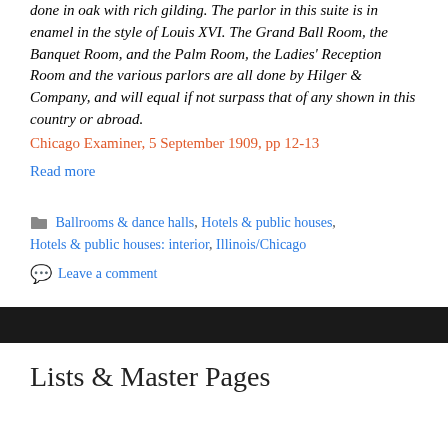done in oak with rich gilding. The parlor in this suite is in enamel in the style of Louis XVI. The Grand Ball Room, the Banquet Room, and the Palm Room, the Ladies' Reception Room and the various parlors are all done by Hilger & Company, and will equal if not surpass that of any shown in this country or abroad.
Chicago Examiner, 5 September 1909, pp 12-13
Read more
Ballrooms & dance halls, Hotels & public houses, Hotels & public houses: interior, Illinois/Chicago
Leave a comment
Lists & Master Pages